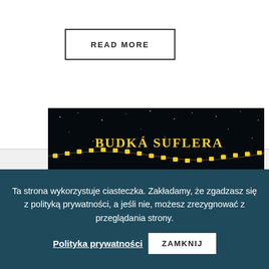READ MORE
[Figure (photo): Night sky scene with string lights and 'BUDKA SUFLERA' text in yellow letters against dark background]
Ta strona wykorzystuje ciasteczka. Zakładamy, że zgadzasz się z polityką prywatności, a jeśli nie, możesz zrezygnować z przeglądania strony.
Polityka prywatności
ZAMKNIJ